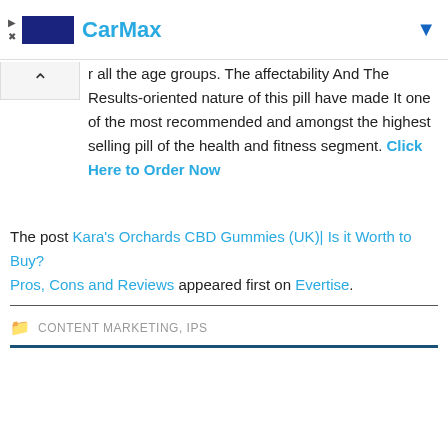[Figure (other): CarMax advertisement banner with logo, brand name, and navigation arrow]
r all the age groups. The affectability And The Results-oriented nature of this pill have made It one of the most recommended and amongst the highest selling pill of the health and fitness segment. Click Here to Order Now
The post Kara's Orchards CBD Gummies (UK)| Is it Worth to Buy? Pros, Cons and Reviews appeared first on Evertise.
CONTENT MARKETING, IPS